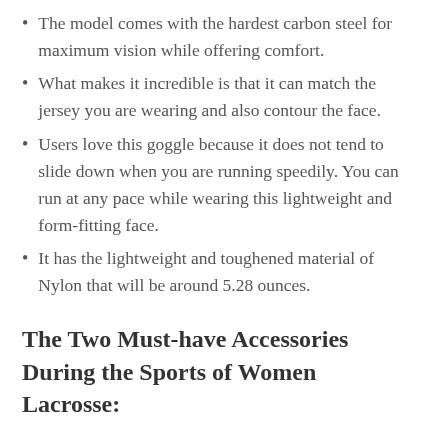The model comes with the hardest carbon steel for maximum vision while offering comfort.
What makes it incredible is that it can match the jersey you are wearing and also contour the face.
Users love this goggle because it does not tend to slide down when you are running speedily. You can run at any pace while wearing this lightweight and form-fitting face.
It has the lightweight and toughened material of Nylon that will be around 5.28 ounces.
The Two Must-have Accessories During the Sports of Women Lacrosse: